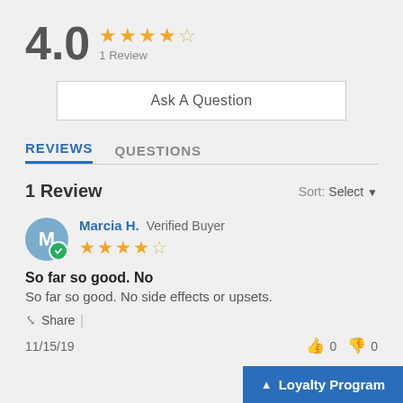4.0 ★★★★☆ 1 Review
Ask A Question
REVIEWS   QUESTIONS
1 Review   Sort: Select
Marcia H. Verified Buyer ★★★★☆
So far so good. No
So far so good. No side effects or upsets.
Share |
11/15/19   👍 0   👎 0
▲ Loyalty Program